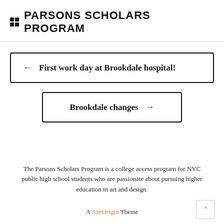PARSONS SCHOLARS PROGRAM
← First work day at Brookdale hospital!
Brookdale changes →
The Parsons Scholars Program is a college access program for NYC public high school students who are passionate about pursuing higher education in art and design.
A SiteOrigin Theme